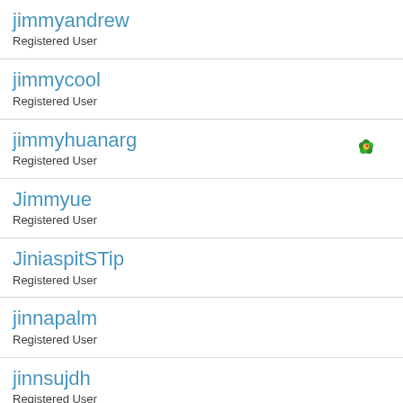jimmyandrew
Registered User
jimmycool
Registered User
jimmyhuanarg
Registered User
Jimmyue
Registered User
JiniaspitSTip
Registered User
jinnapalm
Registered User
jinnsujdh
Registered User
JInx
Registered User